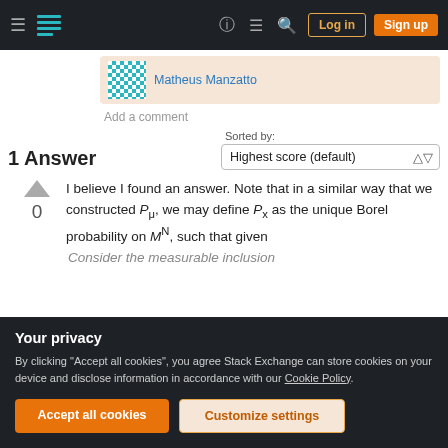Stack Exchange navigation bar with logo, icons, Log in and Sign up buttons
Matheus Manzatto
Add a comment
1 Answer
Sorted by: Highest score (default)
I believe I found an answer. Note that in a similar way that we constructed P_μ, we may define P_x as the unique Borel probability on M^N, such that given
Consider the measurable inclusion
Your privacy
By clicking "Accept all cookies", you agree Stack Exchange can store cookies on your device and disclose information in accordance with our Cookie Policy.
Accept all cookies
Customize settings